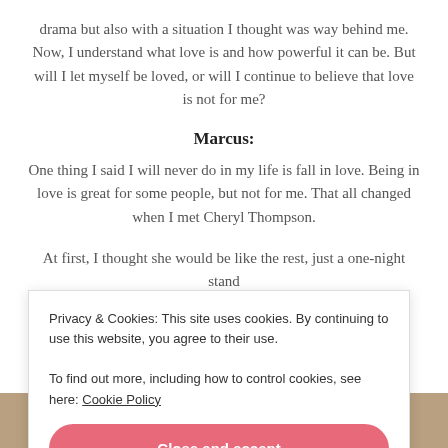drama but also with a situation I thought was way behind me. Now, I understand what love is and how powerful it can be. But will I let myself be loved, or will I continue to believe that love is not for me?
Marcus:
One thing I said I will never do in my life is fall in love. Being in love is great for some people, but not for me. That all changed when I met Cheryl Thompson.
At first, I thought she would be like the rest, just a one-night stand
Privacy & Cookies: This site uses cookies. By continuing to use this website, you agree to their use.
To find out more, including how to control cookies, see here: Cookie Policy
Close and accept
[Figure (photo): Bottom strip showing partial heads/hair of two people against a yellow background]